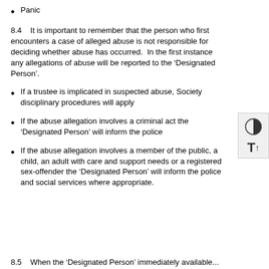Panic
8.4    It is important to remember that the person who first encounters a case of alleged abuse is not responsible for deciding whether abuse has occurred.  In the first instance any allegations of abuse will be reported to the ‘Designated Person’.
If a trustee is implicated in suspected abuse, Society disciplinary procedures will apply
If the abuse allegation involves a criminal act the ‘Designated Person’ will inform the police
If the abuse allegation involves a member of the public, a child, an adult with care and support needs or a registered sex-offender the ‘Designated Person’ will inform the police and social services where appropriate.
8.5    When the ‘Designated Person’ immediately available...